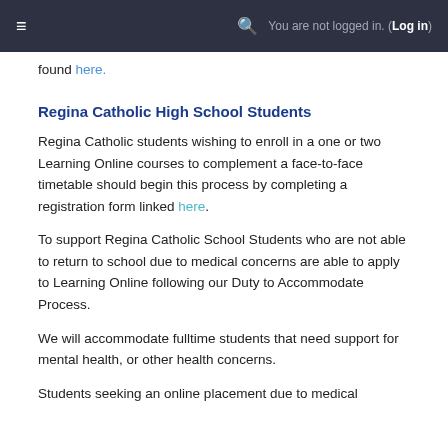≡   🔍   You are not logged in. (Log in)
found here.
Regina Catholic High School Students
Regina Catholic students wishing to enroll in a one or two Learning Online courses to complement a face-to-face timetable should begin this process by completing a registration form linked here.
To support Regina Catholic School Students who are not able to return to school due to medical concerns are able to apply to Learning Online following our Duty to Accommodate Process.
We will accommodate fulltime students that need support for mental health, or other health concerns.
Students seeking an online placement due to medical